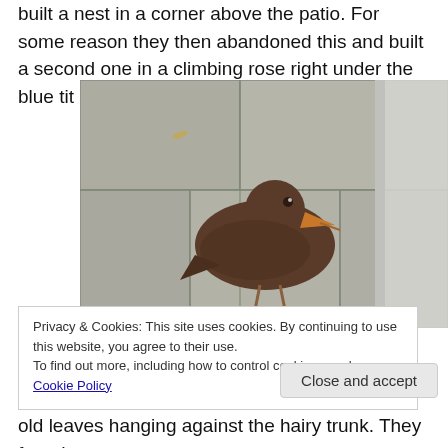built a nest in a corner above the patio. For some reason they then abandoned this and built a second one in a climbing rose right under the blue tit box.
[Figure (photo): A brown bird (female blackbird) standing on stone paving slabs with green moss in the cracks. A white/grey wall or post is visible on the right side of the image.]
Privacy & Cookies: This site uses cookies. By continuing to use this website, you agree to their use.
To find out more, including how to control cookies, see here: Cookie Policy
old leaves hanging against the hairy trunk. They found a